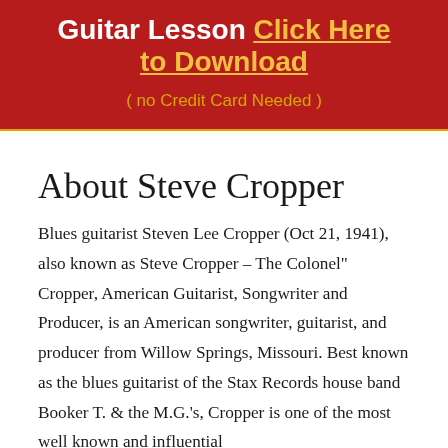[Figure (other): Red banner with white and yellow text: 'Guitar Lesson Click Here to Download ( no Credit Card Needed )']
About Steve Cropper
Blues guitarist Steven Lee Cropper (Oct 21, 1941), also known as Steve Cropper – The Colonel” Cropper, American Guitarist, Songwriter and Producer, is an American songwriter, guitarist, and producer from Willow Springs, Missouri. Best known as the blues guitarist of the Stax Records house band Booker T. & the M.G.’s, Cropper is one of the most well known and influential producers